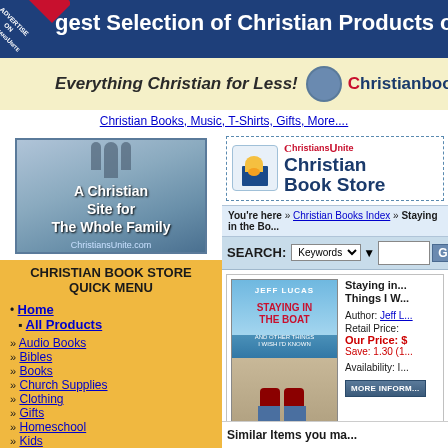gest Selection of Christian Products on the Web
[Figure (screenshot): Christianbook.com banner: Everything Christian for Less!]
Christian Books, Music, T-Shirts, Gifts, More....
[Figure (logo): A Christian Site for The Whole Family - ChristiansUnite.com]
CHRISTIAN BOOK STORE QUICK MENU
Home
All Products
Audio Books
Bibles
Books
Church Supplies
Clothing
Gifts
Homeschool
Kids
Music
Software
Spanish Products
Video / DVD
Special Searches
[Figure (logo): ChristiansUnite Christian Book Store logo]
You're here » Christian Books Index » Staying in the Bo...
SEARCH: Keywords [dropdown] [input]
[Figure (photo): Book cover: Jeff Lucas - Staying in the Boat and Other Things I Wish I'd Known]
Staying in... Things I W...
Author: Jeff L... Retail Price: Our Price: $ Save: 1.30 (1... Availability: I...
MORE INFORM...
Similar Items you ma...